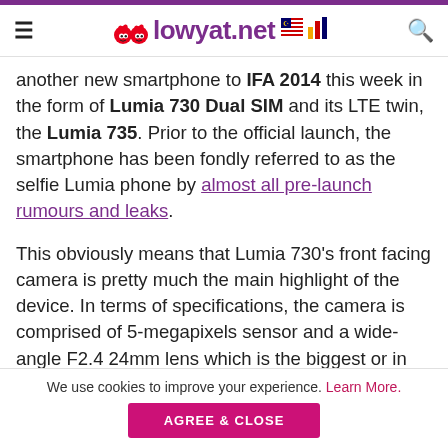lowyat.net
another new smartphone to IFA 2014 this week in the form of Lumia 730 Dual SIM and its LTE twin, the Lumia 735. Prior to the official launch, the smartphone has been fondly referred to as the selfie Lumia phone by almost all pre-launch rumours and leaks.
This obviously means that Lumia 730's front facing camera is pretty much the main highlight of the device. In terms of specifications, the camera is comprised of 5-megapixels sensor and a wide-angle F2.4 24mm lens which is the biggest or in fact, the best front-facing camera that any Lumia devices ever have so far.
We use cookies to improve your experience. Learn More.